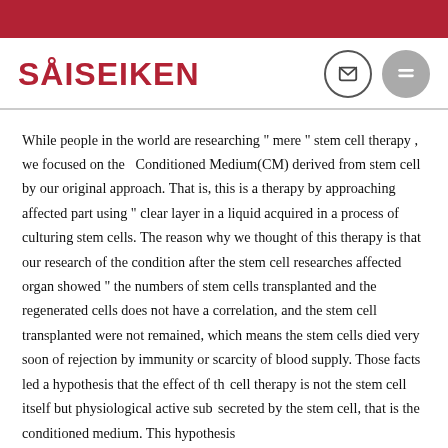SÅISEIKEN
While people in the world are researching “ mere “ stem cell therapy , we focused on the Conditioned Medium(CM) derived from stem cell by our original approach. That is, this is a therapy by approaching affected part using “ clear layer in a liquid acquired in a process of culturing stem cells. The reason why we thought of this therapy is that our research of the condition after the stem cell researches affected organ showed “ the numbers of stem cells transplanted and the regenerated cells does not have a correlation, and the stem cell transplanted were not remained, which means the stem cells died very soon of rejection by immunity or scarcity of blood supply. Those facts led a hypothesis that the effect of the cell therapy is not the stem cell itself but physiological active substances secreted by the stem cell, that is the conditioned medium. This hypothesis